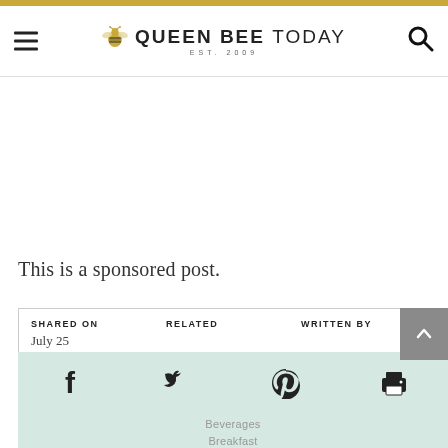QUEEN BEE TODAY EST. 2009
This is a sponsored post.
SHARED ON
July 25
RELATED
WRITTEN BY
[Figure (infographic): Social share bar with Facebook, Twitter, Pinterest, and Print icons on a light teal/green background]
Beverages
Breakfast
Recipes